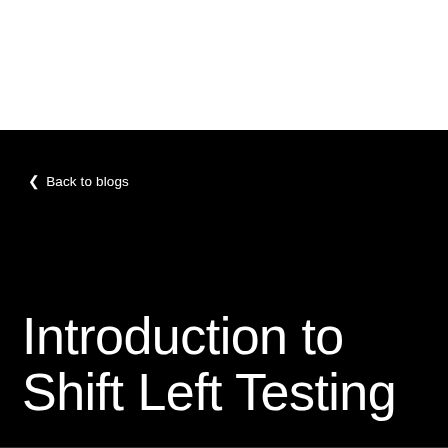< Back to blogs
Introduction to Shift Left Testing